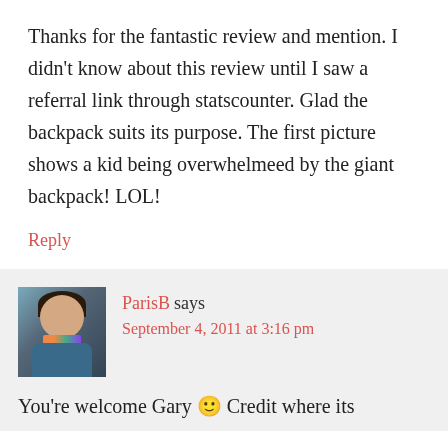Thanks for the fantastic review and mention. I didn't know about this review until I saw a referral link through statscounter. Glad the backpack suits its purpose. The first picture shows a kid being overwhelmeed by the giant backpack! LOL!
Reply
ParisB says
September 4, 2011 at 3:16 pm
[Figure (photo): Avatar photo of ParisB, a woman with short dark hair wearing a colorful scarf]
You're welcome Gary 🙂 Credit where its